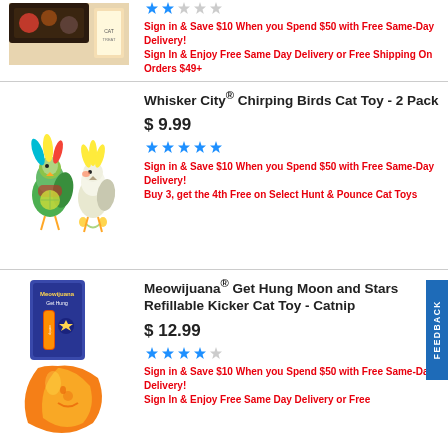[Figure (photo): Partial product image of a pet food/treat item, top cropped]
Sign in & Save $10 When you Spend $50 with Free Same-Day Delivery!
Sign In & Enjoy Free Same Day Delivery or Free Shipping On Orders $49+
[Figure (photo): Whisker City Chirping Birds Cat Toy - two colorful toy birds with feathers]
Whisker City® Chirping Birds Cat Toy - 2 Pack
$ 9.99
[Figure (other): 5 filled blue stars rating]
Sign in & Save $10 When you Spend $50 with Free Same-Day Delivery!
Buy 3, get the 4th Free on Select Hunt & Pounce Cat Toys
[Figure (photo): Meowijuana Get Hung Moon and Stars Refillable Kicker Cat Toy - Catnip product packaging with moon plush]
Meowijuana® Get Hung Moon and Stars Refillable Kicker Cat Toy - Catnip
$ 12.99
[Figure (other): 4 out of 5 blue stars rating]
Sign in & Save $10 When you Spend $50 with Free Same-Day Delivery!
Sign In & Enjoy Free Same Day Delivery or Free